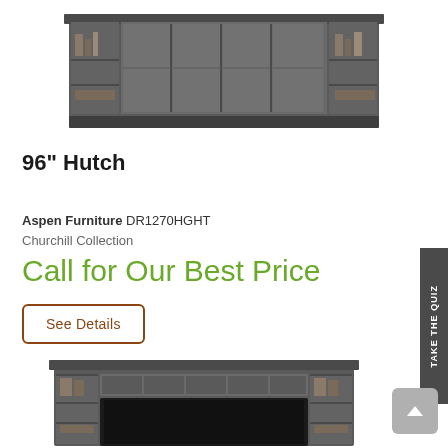[Figure (photo): Photo of a 96-inch hutch/bookcase with glass sliding doors in a dark gray finish, displaying books and decorative items on shelves]
96" Hutch
Aspen Furniture DR1270HGHT
Churchill Collection
Call for Our Best Price
See Details
[Figure (photo): Photo of a large entertainment center/wall unit with shelving, open compartments, and space for a large TV, in dark gray finish]